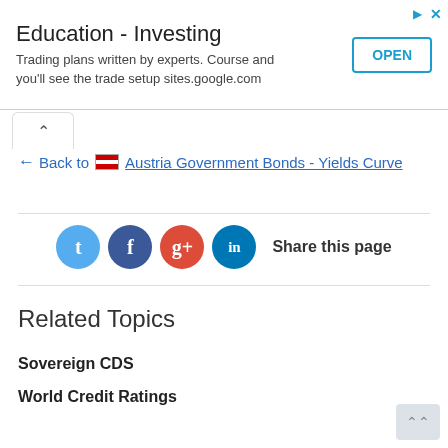[Figure (other): Advertisement banner: 'Education - Investing' with subtitle 'Trading plans written by experts. Course and you'll see the trade setup sites.google.com' and an OPEN button]
← Back to 🇦🇹 Austria Government Bonds - Yields Curve
[Figure (infographic): Social share buttons row: Twitter (blue), Facebook (dark blue), Google+ (red), LinkedIn (teal), with text 'Share this page']
Related Topics
Sovereign CDS
World Credit Ratings